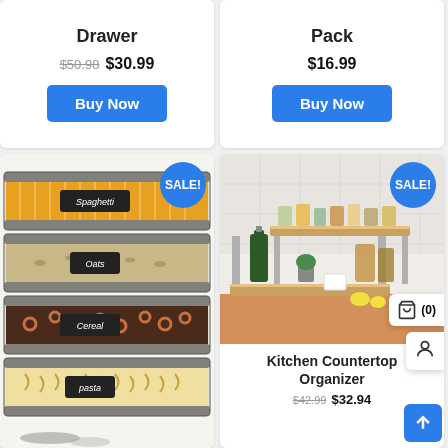Drawer
$50.98 $30.99
Buy Now
Pack
$16.99
Buy Now
[Figure (photo): Stacked clear plastic food storage containers labeled Spaghetti, Oats, Cereal, Pasta with SALE badge]
[Figure (photo): Bamboo kitchen countertop organizer/shelf with spices and olive oil bottle, with SALE badge]
Kitchen Countertop Organizer
$42.99 $32.94